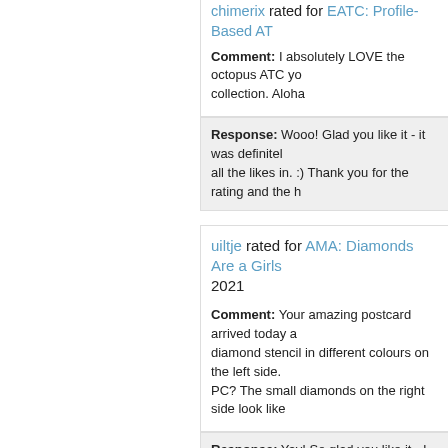chimerix rated for EATC: Profile-Based AT...
Comment: I absolutely LOVE the octopus ATC yo... collection. Aloha
Response: Wooo! Glad you like it - it was definitel... all the likes in. :) Thank you for the rating and the h...
uiltje rated for AMA: Diamonds Are a Girls... 2021
Comment: Your amazing postcard arrived today a... diamond stencil in different colours on the left side. PC? The small diamonds on the right side look like...
Response: Yay! So glad you like it - I coated the e... powder. I love the effect! Thank you for the rating a...
goosey rated for OMAE: Funky Shack (US...
Comment: chriss, i love your house and home art!... so much for this charming whimsical mail!!